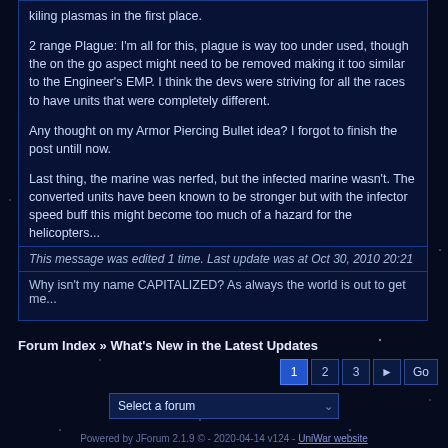kiling plasmas in the first place.
2 range Plague: I'm all for this, plague is way too under used, though the on the go aspect might need to be removed making it too similar to the Engineer's EMP. I think the devs were striving for all the races to have units that were completely different.
Any thought on my Armor Piercing Bullet idea? I forgot to finish the post untill now.
Last thing, the marine was nerfed, but the infected marine wasn't. The converted units have been known to be stronger but with the infector speed buff this might become too much of a hazard for the helicopters...
This message was edited 1 time. Last update was at Oct 30, 2010 20:21
Why isn't my name CAPITALIZED? As always the world is out to get me...
Forum Index » What's New in the Latest Updates
Powered by JForum 2.1.9 © - 2020-04-14 v124 - UniWar website